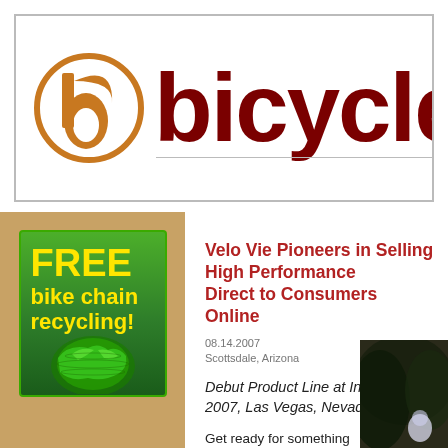[Figure (logo): Bicycling magazine logo: orange circle with stylized 'b' icon and dark red 'bicycl' text with underline]
[Figure (illustration): Green advertisement banner: 'FREE bike chain recycling!' with globe graphic in yellow text on green gradient background]
Velo Vie Pioneers in Selling High Performance Direct to Consumers Online
08.14.2007
Scottsdale, Arizona
Debut Product Line at Interbike 2007, Las Vegas, Nevada
Get ready for something different; Velo Vie Bicycles is pleased to present their bicycle line and innovative design...
[Figure (photo): Partial photo of a cyclist, mostly dark background]